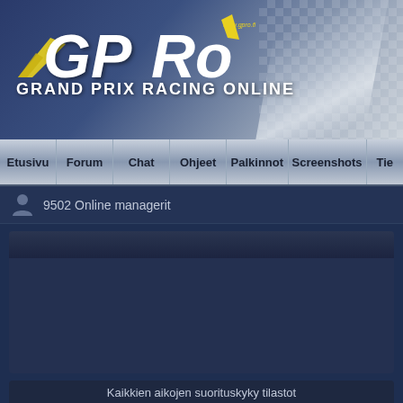[Figure (logo): GPRO Grand Prix Racing Online logo with yellow and white stylized text on dark blue gradient background with checkered flag design]
Etusivu | Forum | Chat | Ohjeet | Palkinnot | Screenshots | Tie
9502 Online managerit
Kaikkien aikojen suorituskyky tilastot
Hall of fame
Paras Elite mestaruuskausi
Managerit joilla eniten Elite mestaruuksia
Parhaat managerit (eniten kilpailuja)
Parhaat managerit (eniten voittoja)
Parhaat managerit (eniten paalupaikkoja)
Parhaat managerit (eniten pisteitä)